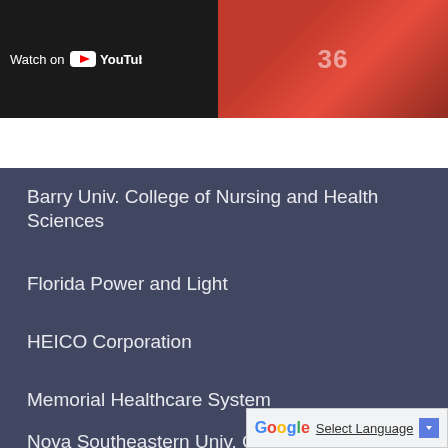[Figure (screenshot): YouTube video thumbnail with 'Watch on YouTube' overlay text and YouTube logo, partially showing people in background]
Barry Univ. College of Nursing and Health Sciences
Florida Power and Light
HEICO Corporation
Memorial Healthcare System
Nova Southeastern Univ. College of Oceanography